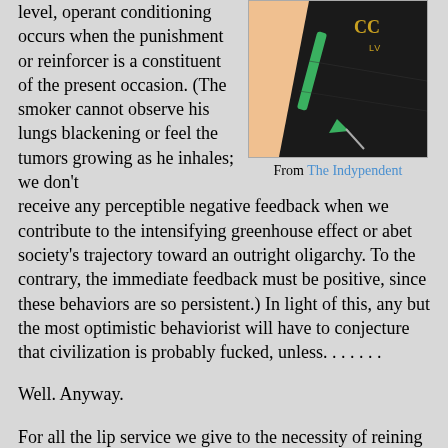level, operant conditioning occurs when the punishment or reinforcer is a constituent of the present occasion. (The smoker cannot observe his lungs blackening or feel the tumors growing as he inhales; we don't receive any perceptible negative feedback when we contribute to the intensifying greenhouse effect or abet society's trajectory toward an outright oligarchy. To the contrary, the immediate feedback must be positive, since these behaviors are so persistent.) In light of this, any but the most optimistic behaviorist will have to conjecture that civilization is probably fucked, unless. . . . . . .
[Figure (illustration): Illustration of a syringe or needle piercing dark fabric, with a Chanel logo visible, on a skin-toned background. From The Indypendent.]
From The Indypendent
Well. Anyway.
For all the lip service we give to the necessity of reining in carbon emissions, for all our bemoaning of the buy-and-toss consumer culture, the perniciousness of the multinationals, and the fact that capitalism is deforming humanity and the modern "Western" lifestyle is destroying the planet, we're like the smoker who is never telling himself that maybe this